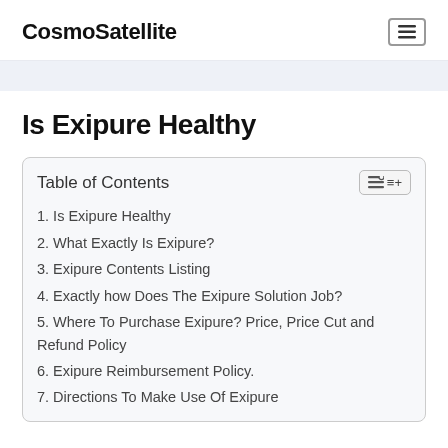CosmoSatellite
Is Exipure Healthy
| Table of Contents |
| --- |
| 1. Is Exipure Healthy |
| 2. What Exactly Is Exipure? |
| 3. Exipure Contents Listing |
| 4. Exactly how Does The Exipure Solution Job? |
| 5. Where To Purchase Exipure? Price, Price Cut and Refund Policy |
| 6. Exipure Reimbursement Policy. |
| 7. Directions To Make Use Of Exipure |